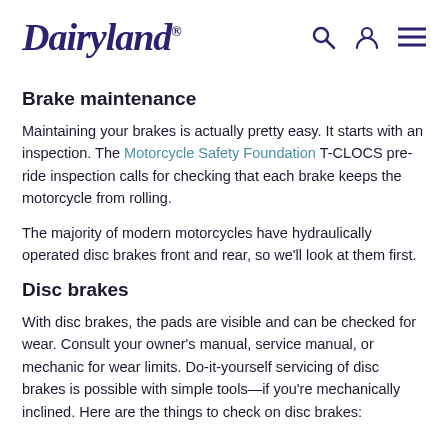Dairyland®
Brake maintenance
Maintaining your brakes is actually pretty easy. It starts with an inspection. The Motorcycle Safety Foundation T-CLOCS pre-ride inspection calls for checking that each brake keeps the motorcycle from rolling.
The majority of modern motorcycles have hydraulically operated disc brakes front and rear, so we'll look at them first.
Disc brakes
With disc brakes, the pads are visible and can be checked for wear. Consult your owner's manual, service manual, or mechanic for wear limits. Do-it-yourself servicing of disc brakes is possible with simple tools—if you're mechanically inclined. Here are the things to check on disc brakes: